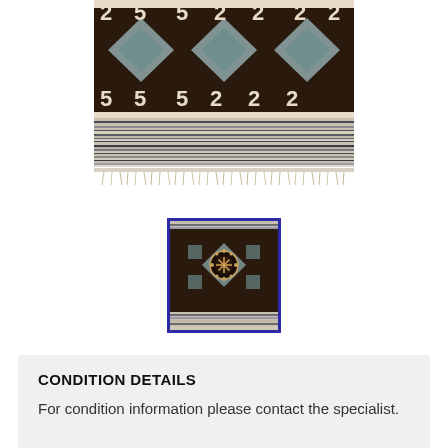[Figure (photo): Top portion of a decorative rug with dark brown background, geometric patterns in ivory/beige and blue-grey, featuring zigzag and diamond motifs, with fringe at the bottom edge.]
[Figure (photo): Thumbnail image of the same rug showing a close-up of the central ornamental pattern, framed with a dark blue/indigo border indicating it is the currently selected view.]
CONDITION DETAILS
For condition information please contact the specialist.